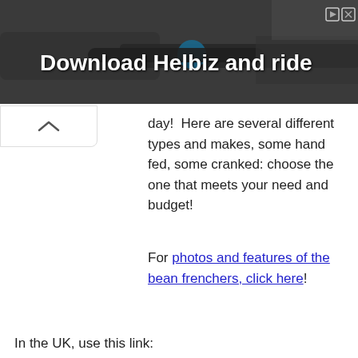[Figure (photo): Advertisement banner with a bicycle handlebar photo and text 'Download Helbiz and ride' with ad control icons]
day!  Here are several different types and makes, some hand fed, some cranked: choose the one that meets your need and budget!
For photos and features of the bean frenchers, click here!
In the UK, use this link: